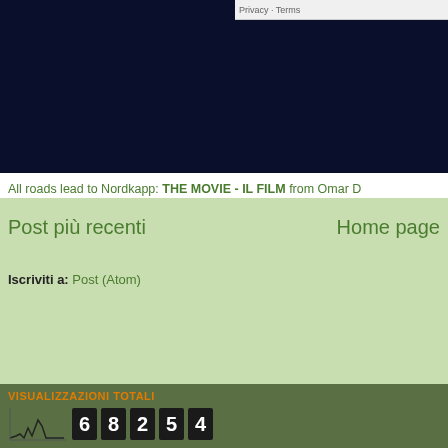[Figure (screenshot): Dark navy blue image area occupying the top portion of the page, with a white embed box in the upper right corner]
All roads lead to Nordkapp: THE MOVIE - IL FILM from Omar D
Post più recenti
Home page
Iscriviti a: Post (Atom)
VISUALIZZAZIONI TOTALI
[Figure (other): Page view counter widget showing a small line chart and digit boxes displaying the number 68254]
SICILY BIKE TOURIST SERVICE
Sicily and Etna Bike Tours by Sicily Bike Tourist Service, gli specialisti de